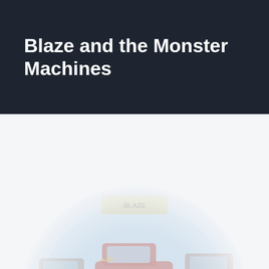Blaze and the Monster Machines
[Figure (illustration): Circular faded illustration showing Blaze and the Monster Machines characters — colorful monster trucks in a round badge/logo format, rendered with low opacity against a light gray background]